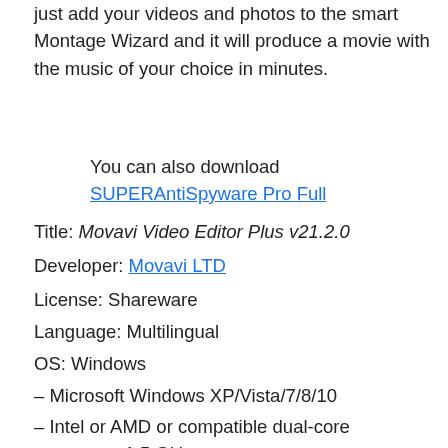just add your videos and photos to the smart Montage Wizard and it will produce a movie with the music of your choice in minutes.
You can also download SUPERAntiSpyware Pro Full
Title: Movavi Video Editor Plus v21.2.0
Developer: Movavi LTD
License: Shareware
Language: Multilingual
OS: Windows
– Microsoft Windows XP/Vista/7/8/10
– Intel or AMD or compatible dual-core processor, 1.5 GHz
– NVIDIA® GeForce™ series 6 or higher, AMD Radeon™ R600 or higher graphics card with up-to-date drivers
– Display resolution of 1024×768, 32-bit color
– 256 MB RAM for Windows XP, 512 MB for Vista, 1 GB for Windows 7, Windows 8, and Windows 10